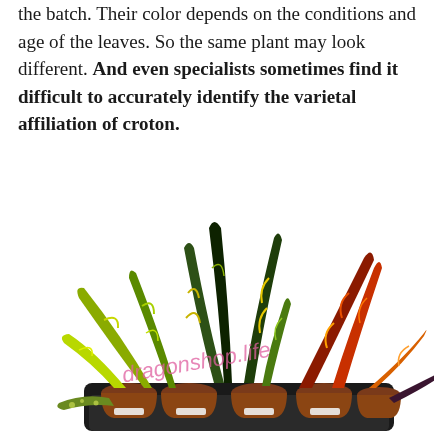the batch. Their color depends on the conditions and age of the leaves. So the same plant may look different. And even specialists sometimes find it difficult to accurately identify the varietal affiliation of croton.
[Figure (photo): A tray of multiple croton plants with colorful variegated leaves in green, yellow, orange, and red tones, potted in brown pots on a black tray. A pink watermark overlay reads 'dragonshop.life'.]